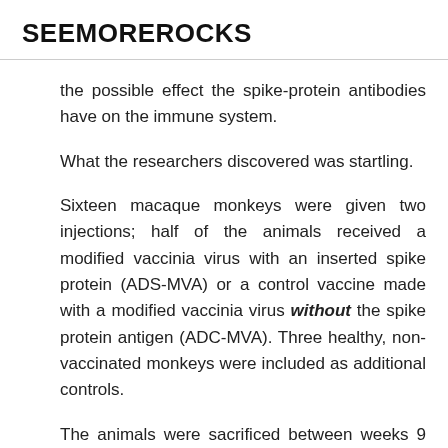SEEMOREROCKS
the possible effect the spike-protein antibodies have on the immune system.
What the researchers discovered was startling.
Sixteen macaque monkeys were given two injections; half of the animals received a modified vaccinia virus with an inserted spike protein (ADS-MVA) or a control vaccine made with a modified vaccinia virus without the spike protein antigen (ADC-MVA). Three healthy, non-vaccinated monkeys were included as additional controls.
The animals were sacrificed between weeks 9 and 21, after receiving the second injection; the vaccine